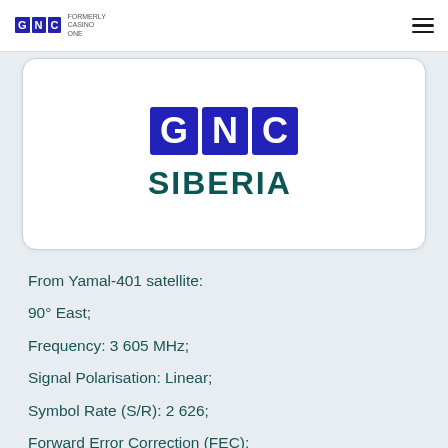[Figure (logo): GNC (formerly Casino One) navigation bar logo with small text]
[Figure (logo): GNC SIBERIA logo — three blue square boxes with letters G, N, C and the word SIBERIA in dark teal below]
From Yamal-401 satellite:
90° East;
Frequency: 3 605 MHz;
Signal Polarisation: Linear;
Symbol Rate (S/R): 2 626;
Forward Error Correction (FEC):